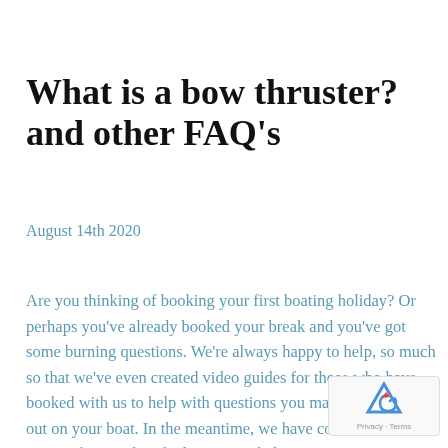What is a bow thruster? and other FAQ's
August 14th 2020
Are you thinking of booking your first boating holiday? Or perhaps you've already booked your break and you've got some burning questions. We're always happy to help, so much so that we've even created video guides for those who have booked with us to help with questions you may have whilst out on your boat. In the meantime, we have collated a list of our top frequently asked questions below.